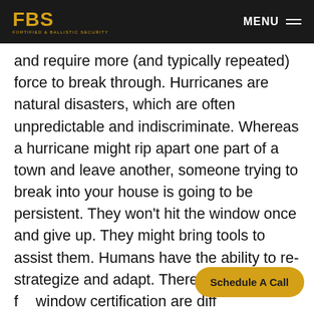FBS FORTIFIED & BALLISTIC SECURITY | MENU
and require more (and typically repeated) force to break through. Hurricanes are natural disasters, which are often unpredictable and indiscriminate. Whereas a hurricane might rip apart one part of a town and leave another, someone trying to break into your house is going to be persistent. They won't hit the window once and give up. They might bring tools to assist them. Humans have the ability to re-strategize and adapt. Therefore, the tests f window certification are diff
Schedule A Call